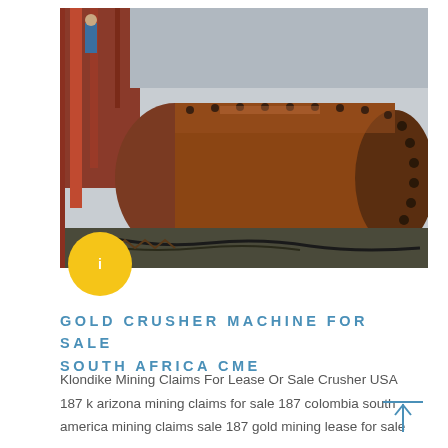[Figure (photo): Industrial ball mill or large cylindrical grinding drum, reddish-brown colored with bolt studs along the surface, sitting in an industrial setting with red steel framework visible in background. A worker in blue is visible in the upper left.]
GOLD CRUSHER MACHINE FOR SALE SOUTH AFRICA CME
Klondike Mining Claims For Lease Or Sale Crusher USA 187 k arizona mining claims for sale 187 colombia south america mining claims sale 187 gold mining lease for sale